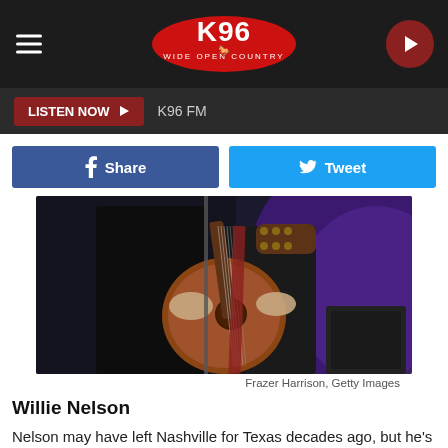K96 Wide Open Country
LISTEN NOW ▶   K96 FM
f  Share    🐦  Tweet
[Figure (photo): Person playing an acoustic guitar on stage, wearing dark clothing, with purple stage lighting in the background. The guitar appears worn and well-used.]
Frazer Harrison, Getty Images
Willie Nelson
Nelson may have left Nashville for Texas decades ago, but he's still earned 10 CMA Awards throughout his illustrious